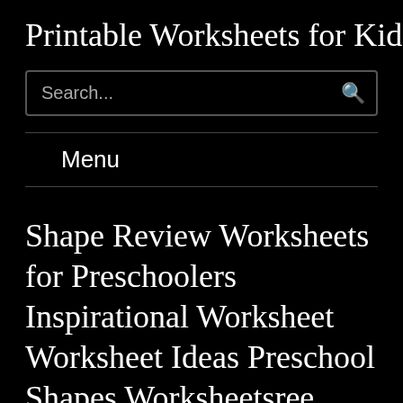Printable Worksheets for Kids
Search...
Menu
Shape Review Worksheets for Preschoolers Inspirational Worksheet Worksheet Ideas Preschool Shapes Worksheetsree